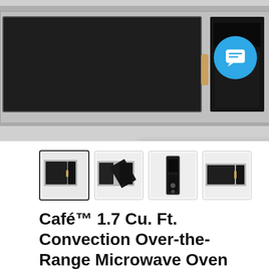[Figure (photo): Main product photo of Café stainless steel over-the-range microwave oven, partially cropped, with a chat support popup overlay showing an avatar and text 'Hey there, have a question? Chat with us!' and a blue circular chat icon in the top right corner.]
Hey there, have a question? Chat with us!
[Figure (photo): Row of four product thumbnail images showing different angles of the Café convection microwave: front closed, door open, side/control panel, and front angled view.]
Café™ 1.7 Cu. Ft. Convection Over-the-Range Microwave Oven